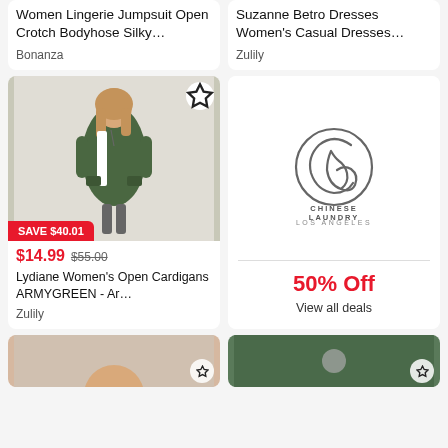Women Lingerie Jumpsuit Open Crotch Bodyhose Silky…
Bonanza
Suzanne Betro Dresses Women's Casual Dresses…
Zulily
[Figure (photo): Woman wearing a green open cardigan]
SAVE $40.01
$14.99  $55.00
Lydiane Women's Open Cardigans ARMYGREEN - Ar…
Zulily
[Figure (logo): Chinese Laundry Los Angeles logo with 50% Off and View all deals]
[Figure (photo): Bottom partial product image left]
[Figure (photo): Bottom partial product image right]